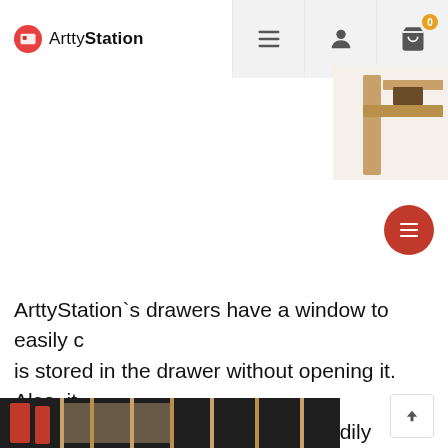ArttyStation
[Figure (screenshot): Partial product image showing wooden furniture/drawer unit in upper right corner]
[Figure (photo): Photo of drawer storage unit with red art supplies and cardboard dividers]
ArttyStation`s drawers have a window to easily c is stored in the drawer without opening it. Also, it memo the content of drawer, to readily categori…